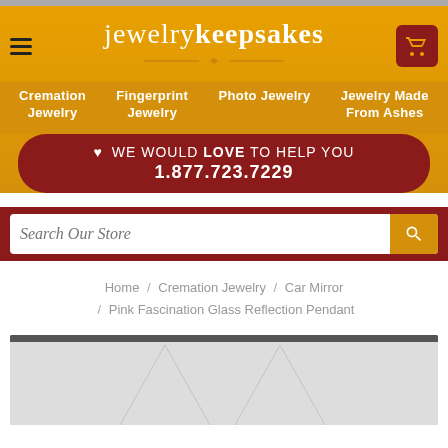[Figure (screenshot): Jewelry Keepsakes website header with logo, navigation menu, help bar, search box, breadcrumb, and product image area]
jewelrykeepsakes
Cremation Jewelry
Fingerprint Jewelry
Photo Jewelry
Jewelry Made From Ashes
WE WOULD LOVE TO HELP YOU 1.877.723.7229
Search Our Store
Home / Cremation Jewelry / Car Mirror / Pink Fascination Glass Reflection Pendant